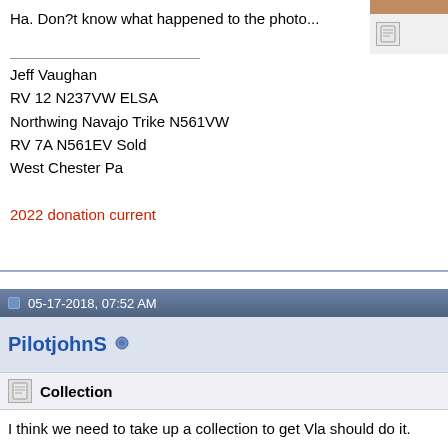[Figure (photo): Partial avatar/profile image at top right, cropped]
Ha. Don?t know what happened to the photo...
Jeff Vaughan
RV 12 N237VW ELSA
Northwing Navajo Trike N561VW
RV 7A N561EV Sold
West Chester Pa
2022 donation current
05-17-2018, 07:52 AM
PilotjohnS
Collection
I think we need to take up a collection to get Vla should do it.
John S
WARNING! Information presented in this post is determining accuracy or suitability for their use.
Dues paid 2022, worth every penny